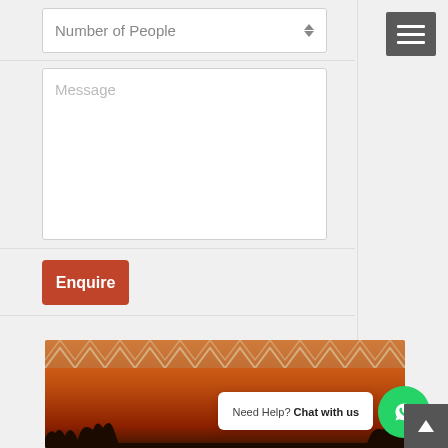[Figure (screenshot): Number of People spinner input field, white background with border]
[Figure (screenshot): Message textarea input field, white background with border, placeholder text 'Message']
[Figure (screenshot): Enquire button, red/terracotta color]
[Figure (screenshot): Hamburger menu icon button, dark grey background, top right]
[Figure (screenshot): Bottom section with sunset image, zigzag pattern, tree silhouettes, WhatsApp chat button, Need Help bubble, scroll-to-top arrow]